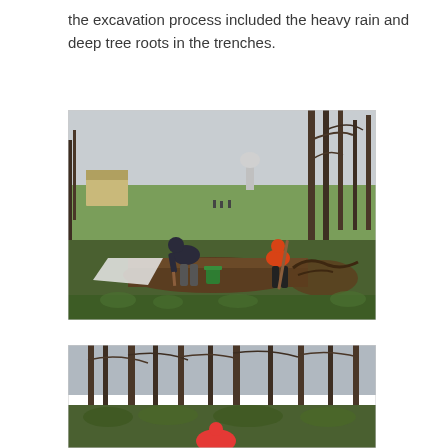the excavation process included the heavy rain and deep tree roots in the trenches.
[Figure (photo): Two people digging in a muddy trench near trees on a cloudy day. One person in a dark hoodie bends over digging with a tool, another in an orange hoodie uses a long-handled tool. A green bucket sits in the trench. A white tarp, grass field, building, water tower, and bare trees are visible in the background.]
[Figure (photo): Partial view of another outdoor excavation scene with bare trees and a person in a red top visible at the bottom, overcast sky.]